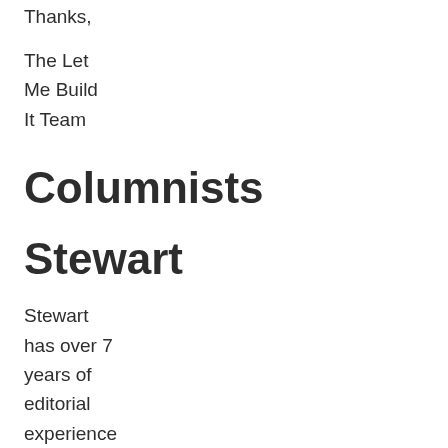Thanks,
The Let
Me Build
It Team
Columnists
Stewart
Stewart has over 7 years of editorial experience and has